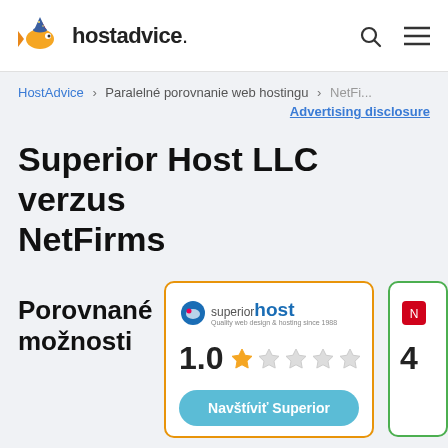hostadvice.
HostAdvice > Paralelné porovnanie web hostingu > NetFi...
Advertising disclosure
Superior Host LLC verzus NetFirms
Porovnané možnosti
[Figure (other): Superior Host logo with rating 1.0 out of 5 stars and a 'Navštíviť Superior' button]
[Figure (other): Partial second comparison card (NetFirms), partially cropped on the right edge]